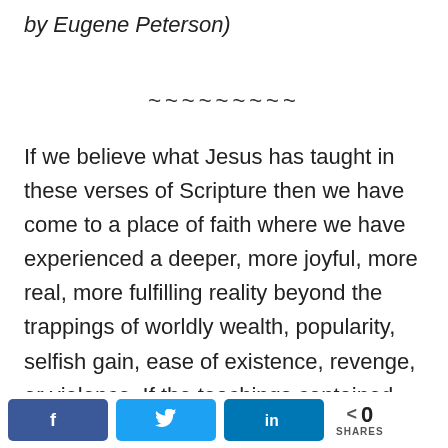by Eugene Peterson)
~~~~~~~~~
If we believe what Jesus has taught in these verses of Scripture then we have come to a place of faith where we have experienced a deeper, more joyful, more real, more fulfilling reality beyond the trappings of worldly wealth, popularity, selfish gain, ease of existence, revenge, or violence.  If the teachings contained here
0 SHARES (Facebook, Twitter, LinkedIn share buttons)